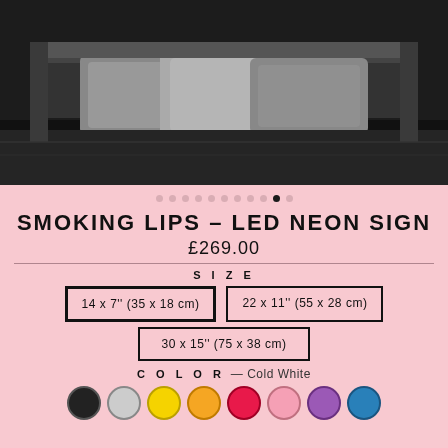[Figure (photo): Grayscale photo of a bed headboard with pillows in a dark bedroom setting]
[Figure (infographic): Pagination dots row with 11 grey dots and 1 active black dot]
SMOKING LIPS – LED NEON SIGN
£269.00
SIZE
14 x 7'' (35 x 18 cm)
22 x 11'' (55 x 28 cm)
30 x 15'' (75 x 38 cm)
COLOR — Cold White
[Figure (infographic): Color swatch circles: black, white/grey, yellow, orange, red/pink, light pink, purple, blue]